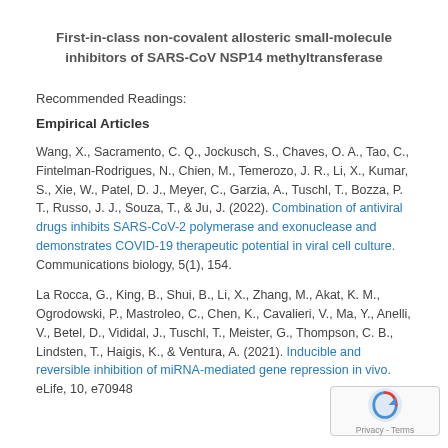First-in-class non-covalent allosteric small-molecule inhibitors of SARS-CoV NSP14 methyltransferase
Recommended Readings:
Empirical Articles
Wang, X., Sacramento, C. Q., Jockusch, S., Chaves, O. A., Tao, C., Fintelman-Rodrigues, N., Chien, M., Temerozo, J. R., Li, X., Kumar, S., Xie, W., Patel, D. J., Meyer, C., Garzia, A., Tuschl, T., Bozza, P. T., Russo, J. J., Souza, T., & Ju, J. (2022). Combination of antiviral drugs inhibits SARS-CoV-2 polymerase and exonuclease and demonstrates COVID-19 therapeutic potential in viral cell culture. Communications biology, 5(1), 154.
La Rocca, G., King, B., Shui, B., Li, X., Zhang, M., Akat, K. M., Ogrodowski, P., Mastroleo, C., Chen, K., Cavalieri, V., Ma, Y., Anelli, V., Betel, D., Vididal, J., Tuschl, T., Meister, G., Thompson, C. B., Lindsten, T., Haigis, K., & Ventura, A. (2021). Inducible and reversible inhibition of miRNA-mediated gene repression in vivo. eLife, 10, e70948